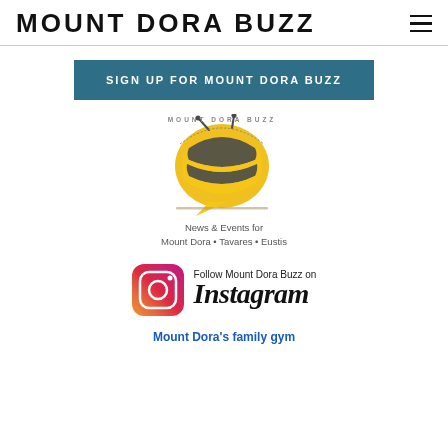MOUNT DORA BUZZ
SIGN UP FOR MOUNT DORA BUZZ
[Figure (logo): Mount Dora Buzz logo: a bee with yellow and dark grey striped body in a speech bubble shape, with curved text 'MOUNT DORA BUZZ' around the top and tagline 'News & Events for Mount Dora • Tavares • Eustis' below]
[Figure (logo): Instagram logo icon (gradient square with camera) alongside text 'Follow Mount Dora Buzz on Instagram']
Mount Dora's family gym